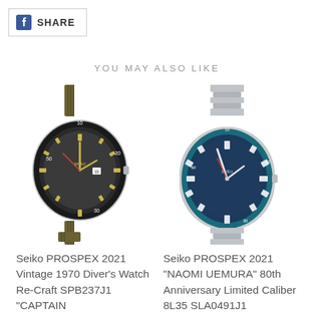[Figure (other): Facebook Share button with fb icon and text SHARE]
YOU MAY ALSO LIKE
[Figure (photo): Seiko Prospex diver watch with olive/khaki NATO strap, dark dial, silver case]
[Figure (photo): Seiko Prospex diver watch with silver metal bracelet, blue dial and bezel, silver case]
Seiko PROSPEX 2021 Vintage 1970 Diver's Watch Re-Craft SPB237J1 "CAPTAIN WILLAR D"...
Seiko PROSPEX 2021 "NAOMI UEMURA" 80th Anniversary Limited Caliber 8L35 SLA0491J1 "DASTERDLY DART"...